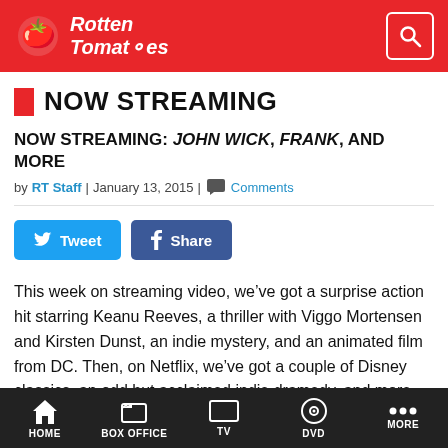Rotten Tomatoes
NOW STREAMING
NOW STREAMING: JOHN WICK, FRANK, AND MORE
by RT Staff | January 13, 2015 | Comments
Tweet  Share
This week on streaming video, we’ve got a surprise action hit starring Keanu Reeves, a thriller with Viggo Mortensen and Kirsten Dunst, an indie mystery, and an animated film from DC. Then, on Netflix, we’ve got a couple of Disney classics, an odd but acclaimed indie dramedy, and more. Read on for details.
HOME  BOX OFFICE  TV  DVD  MORE